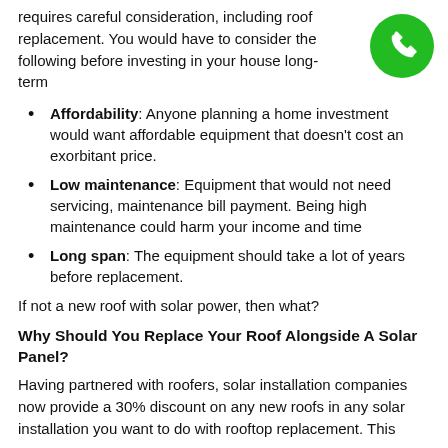requires careful consideration, including roof replacement. You would have to consider the following before investing in your house long-term
Affordability: Anyone planning a home investment would want affordable equipment that doesn't cost an exorbitant price.
Low maintenance: Equipment that would not need servicing, maintenance bill payment. Being high maintenance could harm your income and time
Long span: The equipment should take a lot of years before replacement.
If not a new roof with solar power, then what?
Why Should You Replace Your Roof Alongside A Solar Panel?
Having partnered with roofers, solar installation companies now provide a 30% discount on any new roofs in any solar installation you want to do with rooftop replacement. This